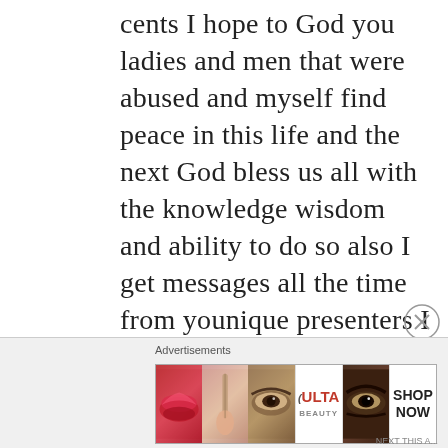cents I hope to God you ladies and men that were abused and myself find peace in this life and the next God bless us all with the knowledge wisdom and ability to do so also I get messages all the time from younique presenters I copy paste the wikepedia link that explains why mlm is such a failure and just block I even got suckered into white level presenting stupid me but got out of it quickly thanks for the blog very interesting as well
[Figure (other): Advertisement banner for ULTA Beauty featuring close-up images of lips with lipstick, makeup brush, eye with eyeshadow, ULTA logo, and dramatic eye makeup, with 'SHOP NOW' call to action]